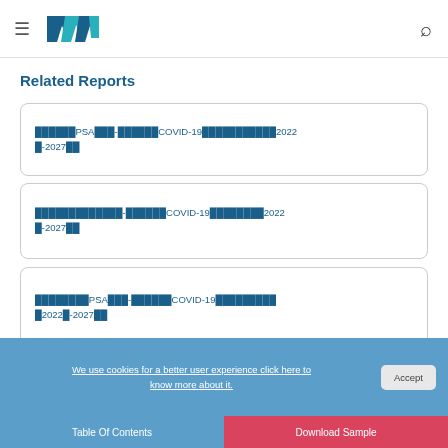Navigation header with logo and search
Related Reports
🀆🀆🀆🀆🀆🀆PSA🀆🀆🀆-🀆🀆🀆🀆🀆🀆COVID-19🀆🀆🀆🀆🀆🀆🀆🀆🀆🀆🀆2022🀆-2027🀆🀆
🀆🀆🀆🀆🀆🀆🀆🀆🀆🀆🀆🀆🀆-🀆🀆🀆🀆🀆🀆COVID-19🀆🀆🀆🀆🀆🀆🀆🀆2022🀆-2027🀆🀆
🀆🀆🀆🀆🀆🀆🀆🀆PSA🀆🀆🀆-🀆🀆🀆🀆🀆🀆COVID-19🀆🀆🀆🀆🀆🀆🀆🀆🀆2022🀆-2027🀆🀆
We use cookies for a better user experience click here to know more about it.
Table Of Contents | Download Sample